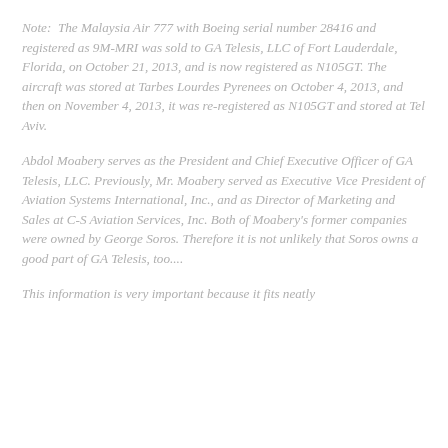Note:  The Malaysia Air 777 with Boeing serial number 28416 and registered as 9M-MRI was sold to GA Telesis, LLC of Fort Lauderdale, Florida, on October 21, 2013, and is now registered as N105GT. The aircraft was stored at Tarbes Lourdes Pyrenees on October 4, 2013, and then on November 4, 2013, it was re-registered as N105GT and stored at Tel Aviv.
Abdol Moabery serves as the President and Chief Executive Officer of GA Telesis, LLC. Previously, Mr. Moabery served as Executive Vice President of Aviation Systems International, Inc., and as Director of Marketing and Sales at C-S Aviation Services, Inc. Both of Moabery's former companies were owned by George Soros. Therefore it is not unlikely that Soros owns a good part of GA Telesis, too....
This information is very important because it fits neatly